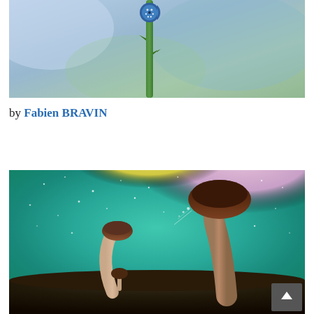[Figure (photo): Close-up macro photo of a small blue flower or seed pod on a green stem with a blurred blue-green background]
by Fabien BRAVIN
[Figure (photo): Artistic macro photo of mushrooms growing from dark earth against a colorful teal, green, pink and rainbow-colored misty background with sparkles and light particles]